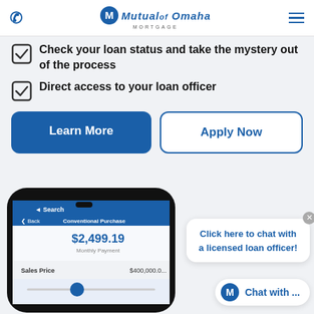Mutual of Omaha Mortgage
Check your loan status and take the mystery out of the process
Direct access to your loan officer
Learn More | Apply Now
[Figure (screenshot): Mobile app screenshot showing Conventional Purchase with $2,499.19 Monthly Payment and Sales Price $400,000.00 with a chat overlay saying 'Click here to chat with a licensed loan officer!' and 'Chat with ...' button]